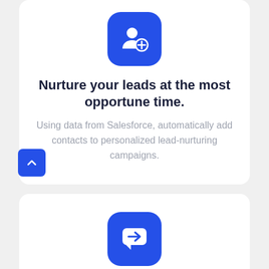[Figure (illustration): Blue rounded square icon with a person/contact with a plus symbol, representing lead nurturing]
Nurture your leads at the most opportune time.
Using data from Salesforce, automatically add contacts to personalized lead-nurturing campaigns.
[Figure (illustration): Blue rounded square icon with a chat bubble containing a right-arrow, representing conversation routing]
Route conversations with zero fuss.